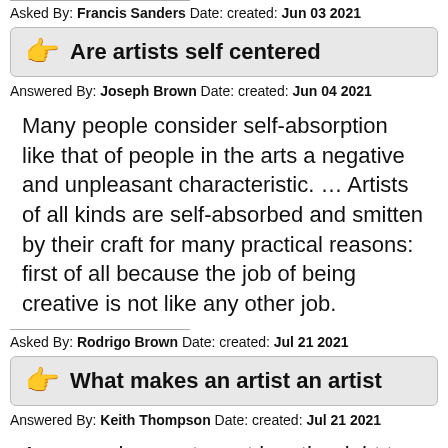Asked By: Francis Sanders Date: created: Jun 03 2021
Are artists self centered
Answered By: Joseph Brown Date: created: Jun 04 2021
Many people consider self-absorption like that of people in the arts a negative and unpleasant characteristic. … Artists of all kinds are self-absorbed and smitten by their craft for many practical reasons: first of all because the job of being creative is not like any other job.
Asked By: Rodrigo Brown Date: created: Jul 21 2021
What makes an artist an artist
Answered By: Keith Thompson Date: created: Jul 21 2021
Anyone who creates art has the right to